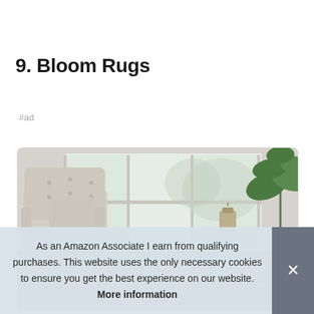9. Bloom Rugs
#ad
[Figure (photo): Room scene with a light beige upholstered armchair with tufted back and cushion, large windows with natural light, a lantern on a side table, and a green tropical plant. An area rug is partially visible at the bottom.]
As an Amazon Associate I earn from qualifying purchases. This website uses the only necessary cookies to ensure you get the best experience on our website. More information